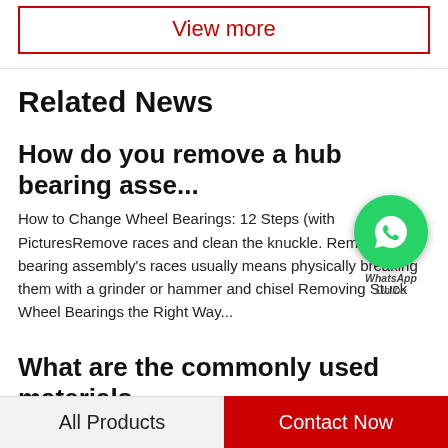View more
Related News
How do you remove a hub bearing asse...
How to Change Wheel Bearings: 12 Steps (with PicturesRemove races and clean the knuckle. Removing the bearing assembly's races usually means physically breaking them with a grinder or hammer and chisel Removing Stuck Wheel Bearings the Right Way...
[Figure (logo): WhatsApp Online badge - green circle with phone icon, text 'WhatsApp Online']
What are the commonly used materials...
Sliding Contact BearingsThe bronzes commonly used
All Products   Contact Now